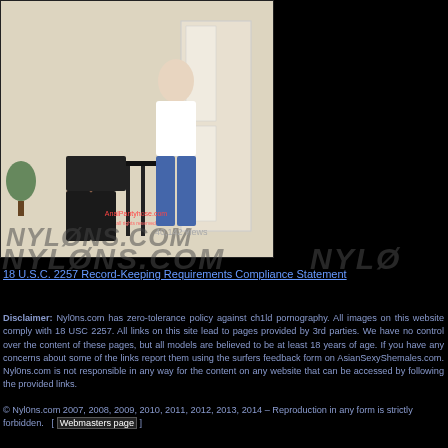[Figure (photo): Photo of two people in an indoor scene, with a watermark overlay reading NYLONS.COM and a view count of 40,142 views]
40,142 views
NYLONS.COM
NYLO
18 U.S.C. 2257 Record-Keeping Requirements Compliance Statement
Disclaimer: Nyl0ns.com has zero-tolerance policy against child pornography. All images on this website comply with 18 USC 2257. All links on this site lead to pages provided by 3rd parties. We have no control over the content of these pages, but all models are believed to be at least 18 years of age. If you have any concerns about some of the links report them using the surfers feedback form on AsianSexyShemales.com. Nyl0ns.com is not responsible in any way for the content on any website that can be accessed by following the provided links.
© Nyl0ns.com 2007, 2008, 2009, 2010, 2011, 2012, 2013, 2014 – Reproduction in any form is strictly forbidden.   [ Webmasters page ]